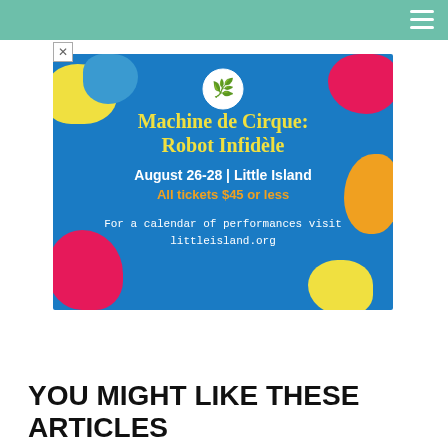[Figure (illustration): Advertisement for Machine de Cirque: Robot Infidèle. Blue background with colorful abstract blob shapes (yellow, pink, magenta, orange). White circular logo at top center. Text reads: 'Machine de Cirque: Robot Infidèle' in yellow serif font, 'August 26-28 | Little Island' in white bold, 'All tickets $45 or less' in orange/gold, 'For a calendar of performances visit littleisland.org' in white.]
YOU MIGHT LIKE THESE ARTICLES